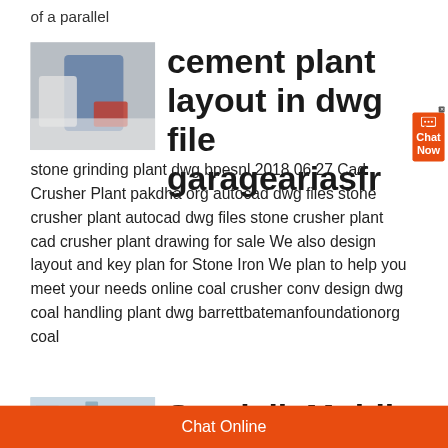of a parallel
[Figure (photo): Person in blue uniform working on a white surface, close-up industrial/manual work scene]
cement plant layout in dwg file garageariasfr
stone grinding plant dwg bpesnl 2018 06 27 Cad Crusher Plant pakdha org autocad dwg files stone crusher plant autocad dwg files stone crusher plant cad crusher plant drawing for sale We also design layout and key plan for Stone Iron We plan to help you meet your needs online coal crusher conv design dwg coal handling plant dwg barrettbatemanfoundationorg coal
[Figure (photo): Industrial equipment or plant machinery, light blue/grey tones]
Sandvik Mobile
Chat Online